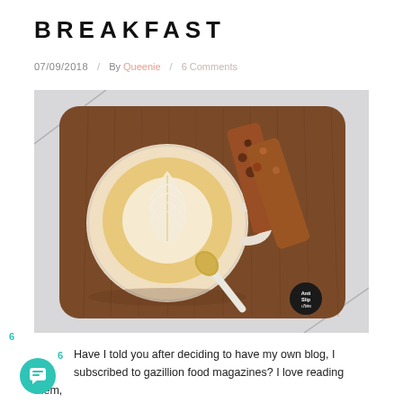BREAKFAST
07/09/2018   /   By Queenie   /   6 Comments
[Figure (photo): Overhead photo of a wooden tray on a light grey background, holding a white ceramic cup of latte art coffee, two pieces of chocolate/nut granola bars, and a gold spoon with white handle. A small black 'Anti Slip' label is visible on the tray.]
Have I told you after deciding to have my own blog, I subscribed to gazillion food magazines? I love reading them, not only from a food blogger researching perspective, but also